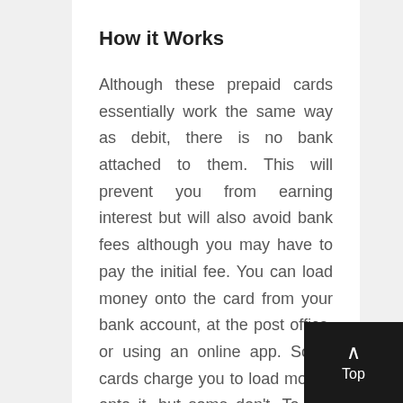How it Works
Although these prepaid cards essentially work the same way as debit, there is no bank attached to them. This will prevent you from earning interest but will also avoid bank fees although you may have to pay the initial fee. You can load money onto the card from your bank account, at the post office, or using an online app. Some cards charge you to load money onto it, but some don't. To find the best deal, it is best to read the terms and conditions before you get started. Once the